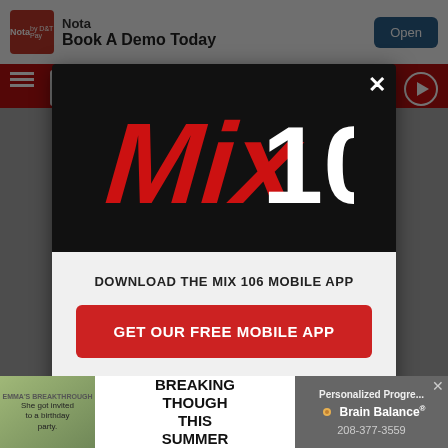[Figure (screenshot): Top advertisement banner with Nota logo and 'Book A Demo Today' text with Open button]
[Figure (logo): Mix 106 radio station logo in red script on black background]
DOWNLOAD THE MIX 106 MOBILE APP
GET OUR FREE MOBILE APP
Also listen on: amazon alexa
[Figure (screenshot): Brain Balance advertisement banner at bottom: 'BREAKING THOUGH THIS SUMMER - Personalized Progress - Brain Balance - 208-377-3559']